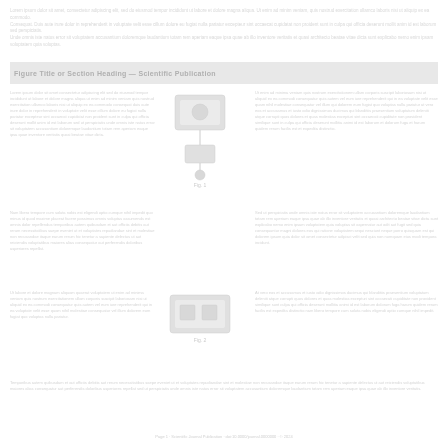Header text content — scientific publication header with author names and journal information
Section or figure title bar
[Figure (illustration): Scientific diagram or illustration, faint/washed out, centered in upper portion of page]
Body text left column, scientific content, very faint
Body text right column, scientific content, very faint
Middle section text left column
Middle section text right column
[Figure (illustration): Second scientific diagram or illustration, faint/washed out]
Lower section text left column
Lower section text right column
Bottom text spanning full width
Page footer with page number and publication info